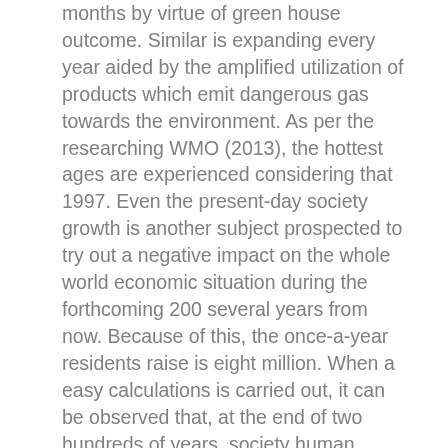months by virtue of green house outcome. Similar is expanding every year aided by the amplified utilization of products which emit dangerous gas towards the environment. As per the researching WMO (2013), the hottest ages are experienced considering that 1997. Even the present-day society growth is another subject prospected to try out a negative impact on the whole world economic situation during the forthcoming 200 several years from now. Because of this, the once-a-year residents raise is eight million. When a easy calculations is carried out, it can be observed that, at the end of two hundreds of years, society human population are going to have heightened by double digits of your display grade. However the subject of family group planning will be highlighted at the moment, a number of building regions might seem not to